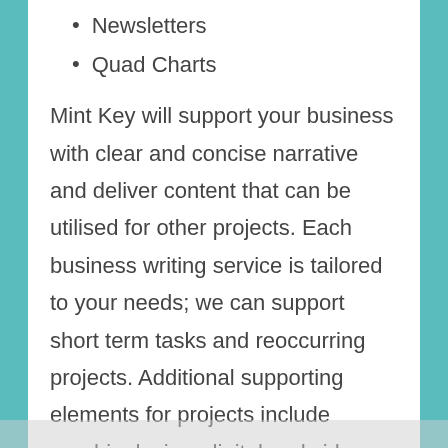Newsletters
Quad Charts
Mint Key will support your business with clear and concise narrative and deliver content that can be utilised for other projects. Each business writing service is tailored to your needs; we can support short term tasks and reoccurring projects. Additional supporting elements for projects include graphic design, digital and video productions.
Contact us